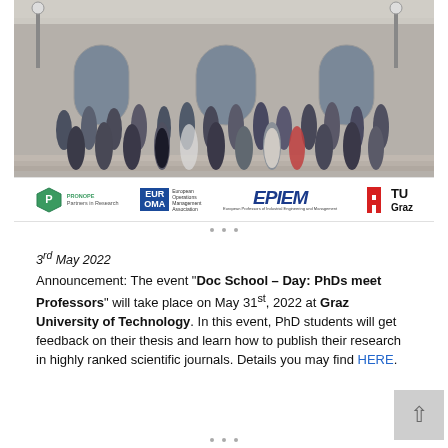[Figure (photo): Group photo of PhD students and professors standing on steps in front of a classical stone building, with logos of PRONOPE, EurOMA, EPIEM, and TU Graz displayed at the bottom of the image.]
3rd May 2022
Announcement: The event "Doc School – Day: PhDs meet Professors" will take place on May 31st, 2022 at Graz University of Technology. In this event, PhD students will get feedback on their thesis and learn how to publish their research in highly ranked scientific journals. Details you may find HERE.